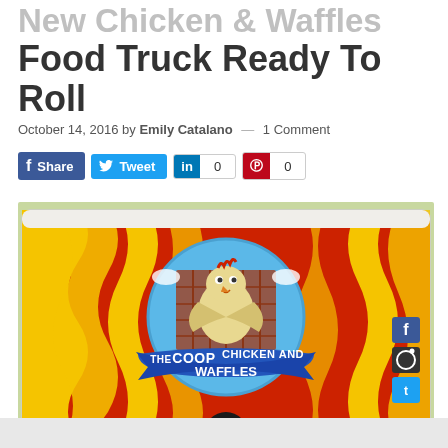New Chicken & Waffles Food Truck Ready To Roll
October 14, 2016 by Emily Catalano — 1 Comment
[Figure (infographic): Social sharing buttons: Facebook Share, Twitter Tweet, LinkedIn 0, Pinterest 0]
[Figure (photo): The Coop Chicken and Waffles food truck with colorful red, yellow and orange wave mural and cartoon chicken mascot in center circle]